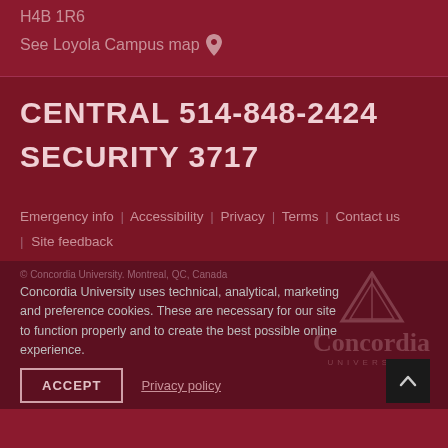H4B 1R6
See Loyola Campus map 📍
CENTRAL 514-848-2424
SECURITY 3717
Emergency info | Accessibility | Privacy | Terms | Contact us | Site feedback
© Concordia University. Montreal, QC, Canada
Concordia University uses technical, analytical, marketing and preference cookies. These are necessary for our site to function properly and to create the best possible online experience.
ACCEPT
Privacy policy